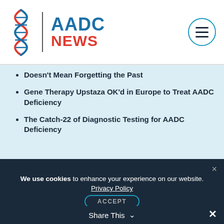AADC NEWS
Doesn't Mean Forgetting the Past
Gene Therapy Upstaza OK'd in Europe to Treat AADC Deficiency
The Catch-22 of Diagnostic Testing for AADC Deficiency
Recommended reading
We use cookies to enhance your experience on our website. Privacy Policy ACCEPT
Share This